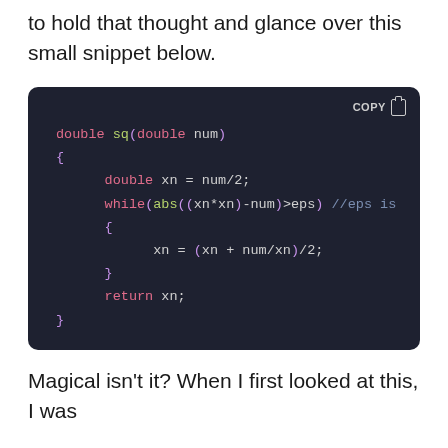to hold that thought and glance over this small snippet below.
[Figure (screenshot): A dark-themed code editor block showing a C++ function 'double sq(double num)' that computes a square root using Newton's method, with a COPY button in the top-right corner.]
Magical isn't it? When I first looked at this, I was